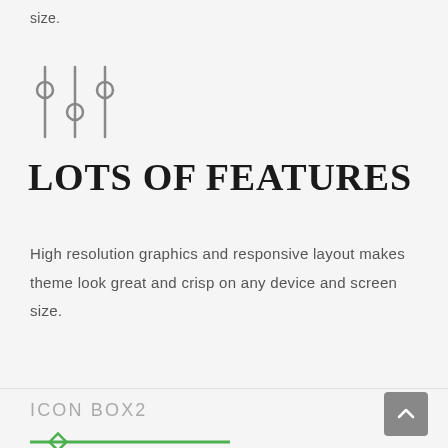size.
[Figure (illustration): Three vertical slider/equalizer icons with circular adjustment knobs]
LOTS OF FEATURES
High resolution graphics and responsive layout makes theme look great and crisp on any device and screen size.
ICON BOX2
[Figure (illustration): Green horizontal line with a diamond-shaped knob/handle on the left side]